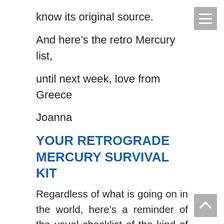know its original source.
And here’s the retro Mercury list,
until next week, love from Greece
Joanna
YOUR RETROGRADE MERCURY SURVIVAL KIT
Regardless of what is going on in the world, here’s a reminder of the usual checklist of the kind of themes to look out for when Mercury is retrograde. Traditional astrology says expect problems with “communication, information and travel” and this list certainly includes those areas in all their guises, but has also been compiled from